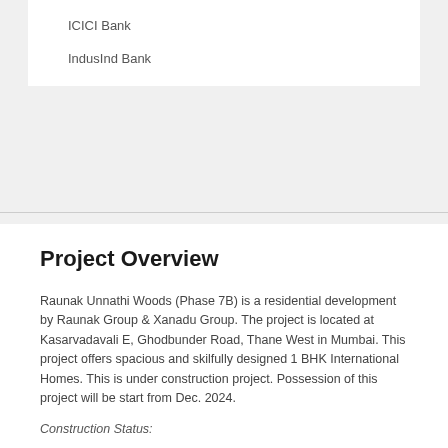ICICI Bank
IndusInd Bank
Project Overview
Raunak Unnathi Woods (Phase 7B) is a residential development by Raunak Group & Xanadu Group. The project is located at Kasarvadavali E, Ghodbunder Road, Thane West in Mumbai. This project offers spacious and skilfully designed 1 BHK International Homes. This is under construction project. Possession of this project will be start from Dec. 2024.
Construction Status:
G3 - 21st Slab Completed
G4 - 12th Slab Done
An environmentally friendly development, this township has